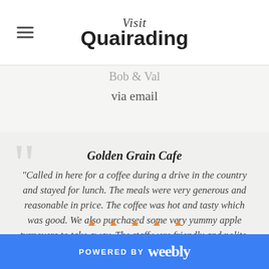Visit Quairading
Bob & Val
via email
Golden Grain Cafe
"Called in here for a coffee during a drive in the country and stayed for lunch. The meals were very generous and reasonable in price. The coffee was hot and tasty which was good. We also purchased some very yummy apple turnovers to take away. The staff were friendly and polite. Will definitely return."
POWERED BY weebly